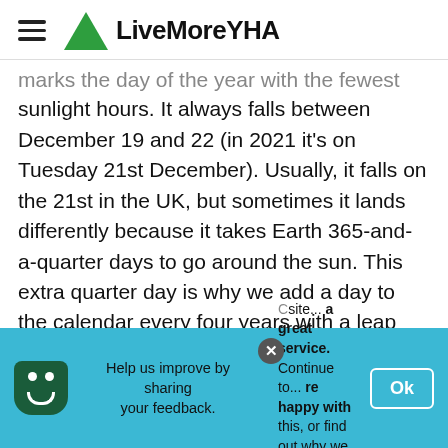LiveMoreYHA
marks the day of the year with the fewest sunlight hours. It always falls between December 19 and 22 (in 2021 it's on Tuesday 21st December). Usually, it falls on the 21st in the UK, but sometimes it lands differently because it takes Earth 365-and-a-quarter days to go around the sun. This extra quarter day is why we add a day to the calendar every four years with a leap year. The event is one of the oldest winter celebrations.
The day is mainly celebrated by Pagans and Druids who head to Stonehenge in Wiltshire
Help us improve by sharing your feedback.